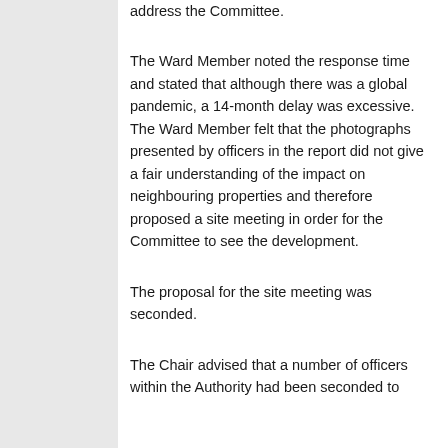address the Committee.
The Ward Member noted the response time and stated that although there was a global pandemic, a 14-month delay was excessive. The Ward Member felt that the photographs presented by officers in the report did not give a fair understanding of the impact on neighbouring properties and therefore proposed a site meeting in order for the Committee to see the development.
The proposal for the site meeting was seconded.
The Chair advised that a number of officers within the Authority had been seconded to